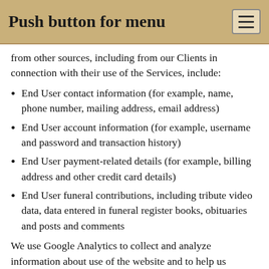Push button for menu
from other sources, including from our Clients in connection with their use of the Services, include:
End User contact information (for example, name, phone number, mailing address, email address)
End User account information (for example, username and password and transaction history)
End User payment-related details (for example, billing address and other credit card details)
End User funeral contributions, including tribute video data, data entered in funeral register books, obituaries and posts and comments
We use Google Analytics to collect and analyze information about use of the website and to help us understand activities and trends, this includes use of Google Analytics performance reports relating to demographics and interests. As part of this service, we